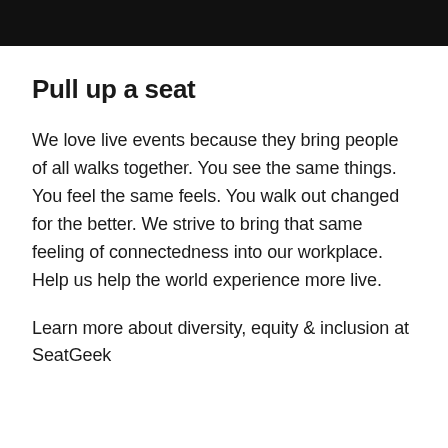Pull up a seat
We love live events because they bring people of all walks together. You see the same things. You feel the same feels. You walk out changed for the better. We strive to bring that same feeling of connectedness into our workplace. Help us help the world experience more live.
Learn more about diversity, equity & inclusion at SeatGeek